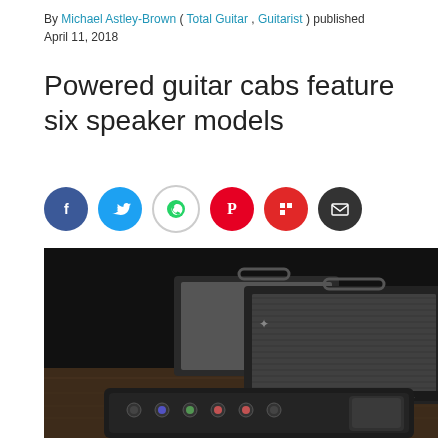By Michael Astley-Brown ( Total Guitar , Guitarist ) published April 11, 2018
Powered guitar cabs feature six speaker models
[Figure (infographic): Social sharing icons: Facebook (blue), Twitter (blue), WhatsApp (white/grey outline), Pinterest (red), Flipboard (red), Email (dark)]
[Figure (photo): Two Line 6 powered guitar speaker cabinets (dark grey/black tolex with speaker grille cloth) on a wooden floor, with a Line 6 Helix floor unit pedalboard in the foreground. Dark studio background.]